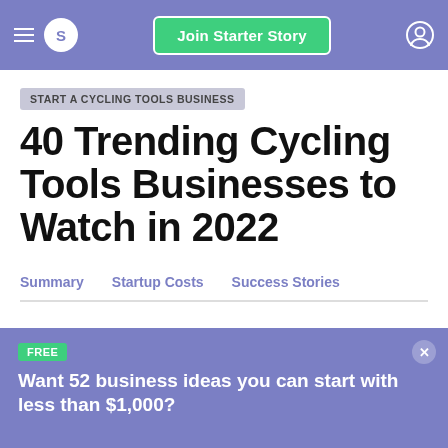S  Join Starter Story
START A CYCLING TOOLS BUSINESS
40 Trending Cycling Tools Businesses to Watch in 2022
Summary
Startup Costs
Success Stories
FREE
Want 52 business ideas you can start with less than $1,000?